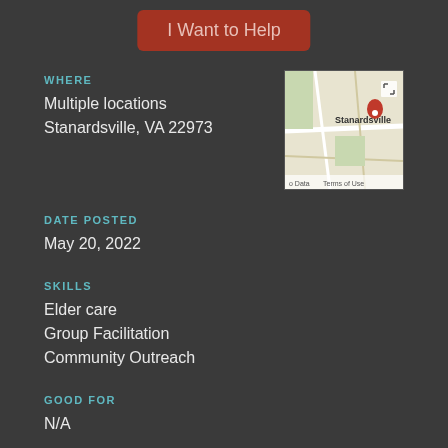I Want to Help
WHERE
Multiple locations
Stanardsville, VA 22973
[Figure (map): Google Map showing Stanardsville area]
DATE POSTED
May 20, 2022
SKILLS
Elder care
Group Facilitation
Community Outreach
GOOD FOR
N/A